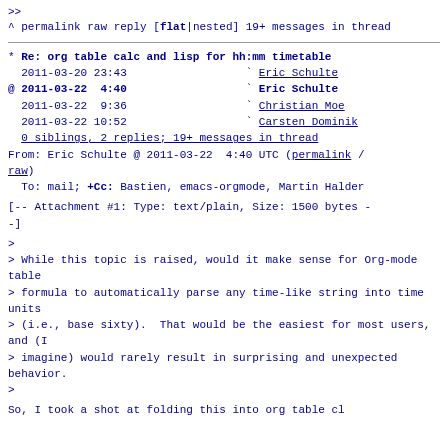>>
^ permalink raw reply    [flat|nested] 19+ messages in thread
* Re: org table calc and lisp for hh:mm timetable
  2011-03-20 23:43                          ` Eric Schulte
@ 2011-03-22  4:40                          ` Eric Schulte
  2011-03-22  9:36                          ` Christian Moe
  2011-03-22 10:52                          ` Carsten Dominik
  0 siblings, 2 replies; 19+ messages in thread
From: Eric Schulte @ 2011-03-22  4:40 UTC (permalink / raw)
  To: mail; +Cc: Bastien, emacs-orgmode, Martin Halder
[-- Attachment #1: Type: text/plain, Size: 1500 bytes --]
>
> While this topic is raised, would it make sense for Org-mode table
> formula to automatically parse any time-like string into time units
> (i.e., base sixty).  That would be the easiest for most users, and (I
> imagine) would rarely result in surprising and unexpected behavior.
>
So, I took a shot at folding this into org table cl...